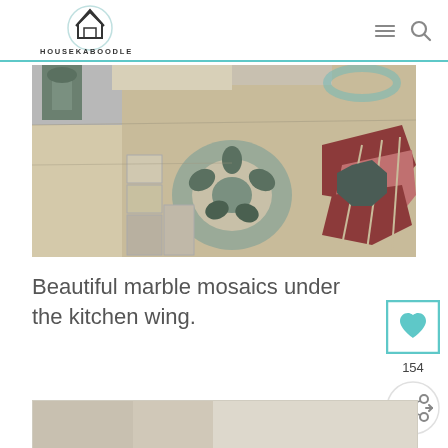HOUSEKABOODLE
[Figure (photo): Aerial close-up photograph of decorative marble mosaic floor tiles with circular and geometric patterns in grey, dark green, red, and beige/cream colors. A bronze statue base is visible in the upper left corner.]
Beautiful marble mosaics under the kitchen wing.
[Figure (screenshot): Partial bottom image strip showing beginning of another photo]